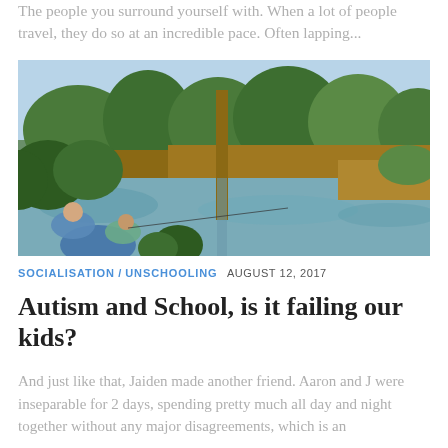The people you surround yourself with. When a lot of people travel, they do so at an incredible pace. Often lapping...
[Figure (photo): Two people (adult and child) fishing at a calm river or pond surrounded by trees and bush landscape. A tall thin tree trunk is visible in the center foreground with reflections in the water.]
SOCIALISATION / UNSCHOOLING  AUGUST 12, 2017
Autism and School, is it failing our kids?
And just like that, Jaiden made another friend. Aaron and J were inseparable for 2 days, spending pretty much all day and night together without any major disagreements, which is an